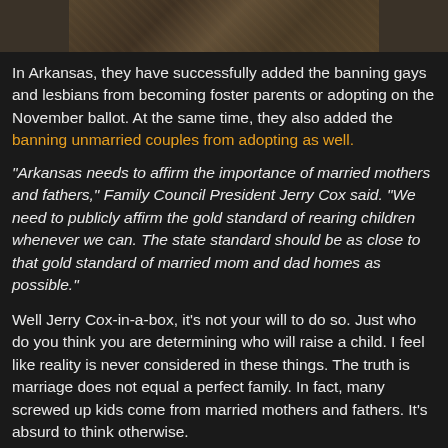[Figure (photo): Partial image at top of page showing a textured brown/dark nature scene, cropped]
In Arkansas, they have successfully added the banning gays and lesbians from becoming foster parents or adopting on the November ballot. At the same time, they also added the banning unmarried couples from adopting as well.
"Arkansas needs to affirm the importance of married mothers and fathers," Family Council President Jerry Cox said. "We need to publicly affirm the gold standard of rearing children whenever we can. The state standard should be as close to that gold standard of married mom and dad homes as possible."
Well Jerry Cox-in-a-box, it's not your will to do so. Just who do you think you are determining who will raise a child. I feel like reality is never considered in these things. The truth is marriage does not equal a perfect family. In fact, many screwed up kids come from married mothers and fathers. It's absurd to think otherwise.